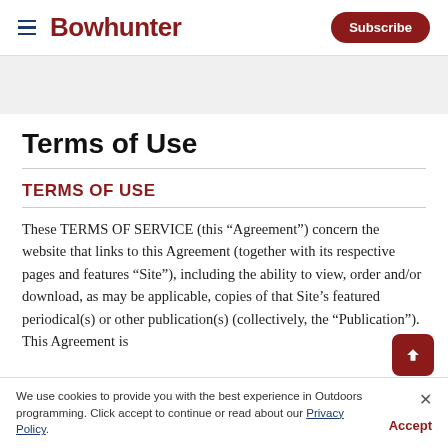Bowhunter | Subscribe
Terms of Use
TERMS OF USE
These TERMS OF SERVICE (this “Agreement”) concern the website that links to this Agreement (together with its respective pages and features “Site”), including the ability to view, order and/or download, as may be applicable, copies of that Site’s featured periodical(s) or other publication(s) (collectively, the “Publication”). This Agreement is
We use cookies to provide you with the best experience in Outdoors programming. Click accept to continue or read about our Privacy Policy.